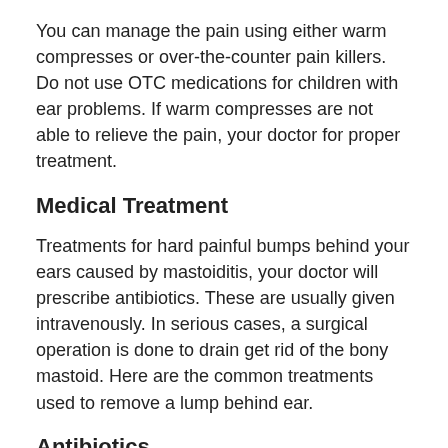You can manage the pain using either warm compresses or over-the-counter pain killers. Do not use OTC medications for children with ear problems. If warm compresses are not able to relieve the pain, your doctor for proper treatment.
Medical Treatment
Treatments for hard painful bumps behind your ears caused by mastoiditis, your doctor will prescribe antibiotics. These are usually given intravenously. In serious cases, a surgical operation is done to drain get rid of the bony mastoid. Here are the common treatments used to remove a lump behind ear.
Antibiotics